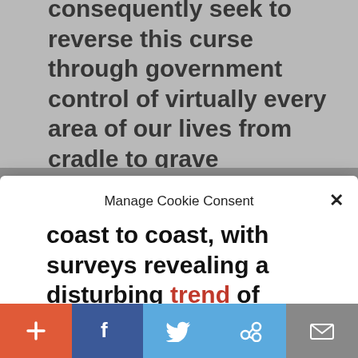consequently seek to reverse this curse through government control of virtually every area of our lives from cradle to grave
Manage Cookie Consent
To provide the best experiences, we use technologies like cookies to store and/or access device information. Consenting to these technologies will allow us to process data such as website statistics. Not consenting or withdrawing consent, may adversely affect certain features and functions.
Accept
Cookie Policy   Privacy Policy
coast to coast, with surveys revealing a disturbing trend of restricting
+ f (twitter) (link) (email)